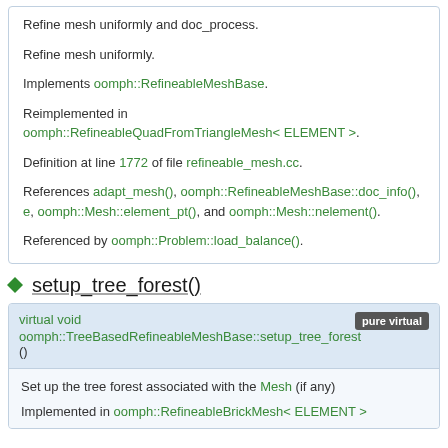Refine mesh uniformly and doc_process.
Refine mesh uniformly.
Implements oomph::RefineableMeshBase.
Reimplemented in oomph::RefineableQuadFromTriangleMesh< ELEMENT >.
Definition at line 1772 of file refineable_mesh.cc.
References adapt_mesh(), oomph::RefineableMeshBase::doc_info(), e, oomph::Mesh::element_pt(), and oomph::Mesh::nelement().
Referenced by oomph::Problem::load_balance().
setup_tree_forest()
virtual void oomph::TreeBasedRefineableMeshBase::setup_tree_forest
pure virtual
Set up the tree forest associated with the Mesh (if any)
Implemented in oomph::RefineableBrickMesh< ELEMENT >